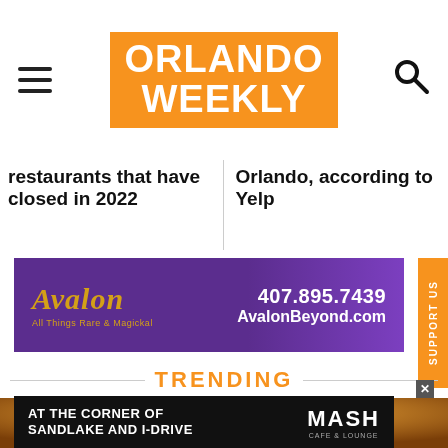ORLANDO WEEKLY
restaurants that have closed in 2022
Orlando, according to Yelp
[Figure (photo): Avalon advertisement banner: purple background with gold Avalon logo, phone 407.895.7439 and website AvalonBeyond.com]
TRENDING
[Figure (photo): Close-up photo of a golden croissant pastry]
[Figure (photo): Advertisement: AT THE CORNER OF SANDLAKE AND I-DRIVE, MASH CAFE & LOUNGE]